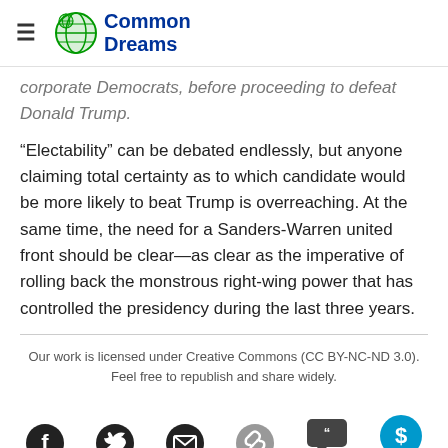Common Dreams
corporate Democrats, before proceeding to defeat Donald Trump.
“Electability” can be debated endlessly, but anyone claiming total certainty as to which candidate would be more likely to beat Trump is overreaching. At the same time, the need for a Sanders-Warren united front should be clear—as clear as the imperative of rolling back the monstrous right-wing power that has controlled the presidency during the last three years.
Our work is licensed under Creative Commons (CC BY-NC-ND 3.0). Feel free to republish and share widely.
[Figure (other): Social sharing icons: Facebook, Twitter, Email, Link, Comments (114), Give button]